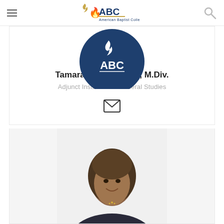American Baptist College
[Figure (logo): American Baptist College (ABC) logo with flame icon and 'American Baptist College' text beneath, inside a dark blue circle]
Tamara French, MBA, M.Div.
Adjunct Instructor in General Studies
[Figure (illustration): Envelope/email icon]
[Figure (photo): Portrait photo of Tamara French, a woman with long hair, smiling, wearing professional attire]